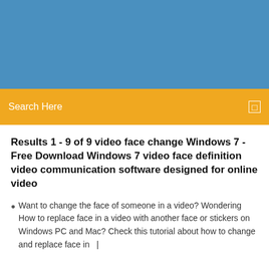[Figure (screenshot): Blue header background area at the top of a website screenshot]
Search Here
Results 1 - 9 of 9 video face change Windows 7 - Free Download Windows 7 video face definition video communication software designed for online video
Want to change the face of someone in a video? Wondering How to replace face in a video with another face or stickers on Windows PC and Mac? Check this tutorial about how to change and replace face in  |